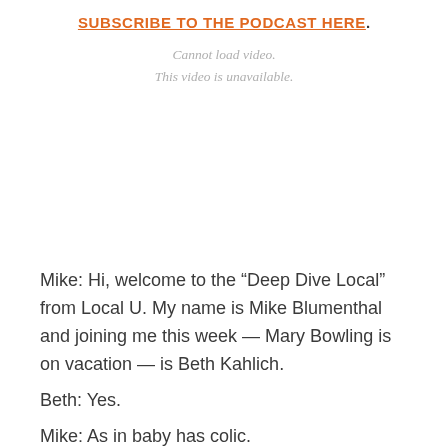SUBSCRIBE TO THE PODCAST HERE.
Cannot load video.
This video is unavailable.
Mike: Hi, welcome to the “Deep Dive Local” from Local U. My name is Mike Blumenthal and joining me this week — Mary Bowling is on vacation — is Beth Kahlich.
Beth: Yes.
Mike: As in baby has colic.